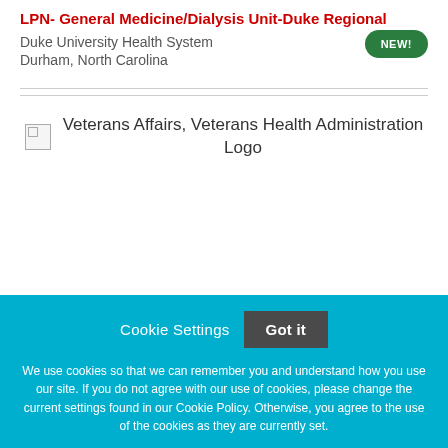LPN- General Medicine/Dialysis Unit-Duke Regional
Duke University Health System
Durham, North Carolina
[Figure (logo): Veterans Affairs, Veterans Health Administration Logo]
Cookie Settings  Got it
We use cookies so that we can remember you and understand how you use our site. If you do not agree with our use of cookies, please change the current settings found in our Cookie Policy. Otherwise, you agree to the use of the cookies as they are currently set.